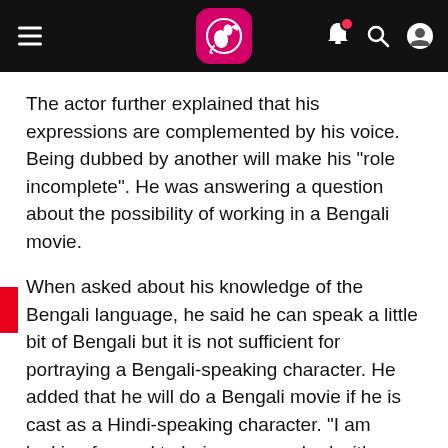News app header with hamburger menu, logo, bell notification, search, and profile icons
The actor further explained that his expressions are complemented by his voice. Being dubbed by another will make his "role incomplete". He was answering a question about the possibility of working in a Bengali movie.
When asked about his knowledge of the Bengali language, he said he can speak a little bit of Bengali but it is not sufficient for portraying a Bengali-speaking character. He added that he will do a Bengali movie if he is cast as a Hindi-speaking character. "I am looking forward to being approached with a storyline to my liking by any of the current crop of talented directors of Bengal," said Tripathi.